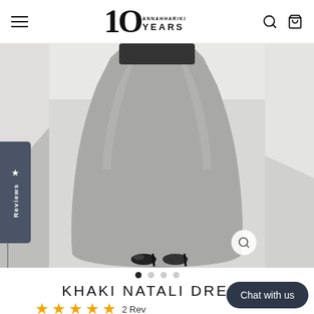10 ANNAHHARIKI YEARS — navigation bar with hamburger menu, logo, search and cart icons
[Figure (photo): A model wearing a grey floor-length flared dress (Khaki Natali Dress) with black heeled shoes, shown from waist down. Side panels show partial views of the same or adjacent product images. A dark navy 'Reviews' tab with star icon is on the left edge.]
KHAKI NATALI DRESS
★★★★★ 2 Reviews
$199.70  $64.70  Save $135.00